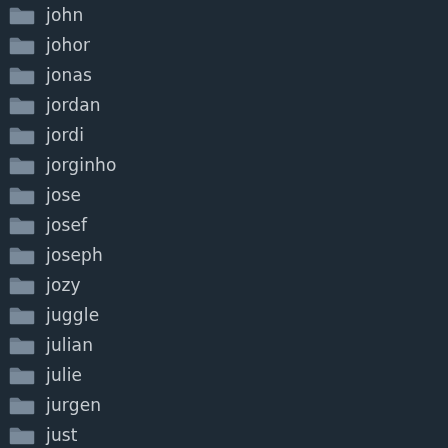john
johor
jonas
jordan
jordi
jorginho
jose
josef
joseph
jozy
juggle
julian
julie
jurgen
just
juventus
kaka
kalvin